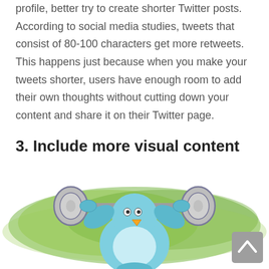profile, better try to create shorter Twitter posts. According to social media studies, tweets that consist of 80-100 characters get more retweets. This happens just because when you make your tweets shorter, users have enough room to add their own thoughts without cutting down your content and share it on their Twitter page.
3. Include more visual content
[Figure (illustration): Cartoon blue Twitter bird character lifting a heavy barbell with weights, set against a green brush-stroke background. A grey scroll-to-top arrow button is visible in the bottom-right corner.]